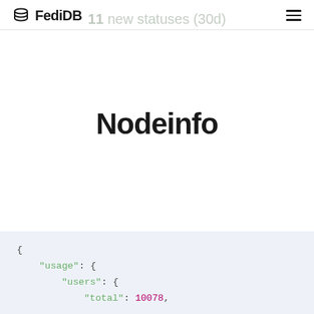FediDB
11 new statuses (30d)
Nodeinfo
{
    "usage": {
        "users": {
            "total": 10078,